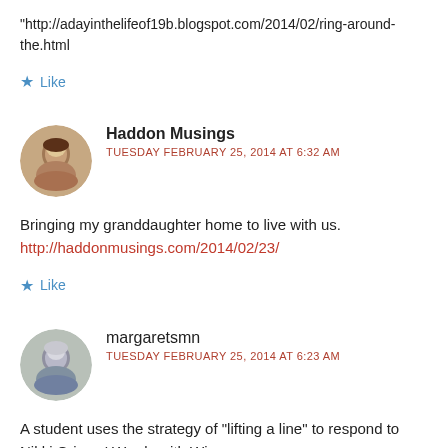“http://adayinthelifeof19b.blogspot.com/2014/02/ring-around-the.html
★ Like
Haddon Musings
TUESDAY FEBRUARY 25, 2014 AT 6:32 AM
Bringing my granddaughter home to live with us.
http://haddonmusings.com/2014/02/23/
★ Like
margaretsmn
TUESDAY FEBRUARY 25, 2014 AT 6:23 AM
A student uses the strategy of “lifting a line” to respond to Nikki Grimes’ Words with Wings:
http://reflectionsontheteche.wordpress.com/2014/02/25/lift-a-